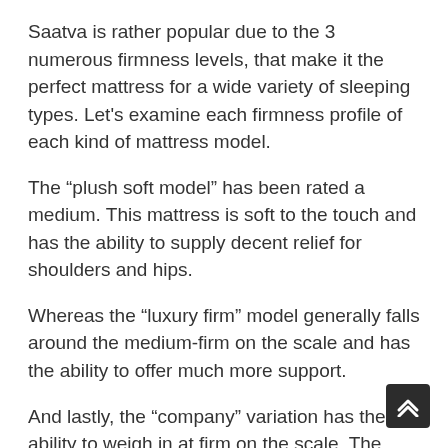Saatva is rather popular due to the 3 numerous firmness levels, that make it the perfect mattress for a wide variety of sleeping types. Let's examine each firmness profile of each kind of mattress model.
The “plush soft model” has been rated a medium. This mattress is soft to the touch and has the ability to supply decent relief for shoulders and hips.
Whereas the “luxury firm” model generally falls around the medium-firm on the scale and has the ability to offer much more support.
And lastly, the “company” variation has the ability to weigh in at firm on the scale. The Saatva company design is best for individuals who sleep on their backs or stomach, tend to weigh more, or merely want more lumbar assistance from their